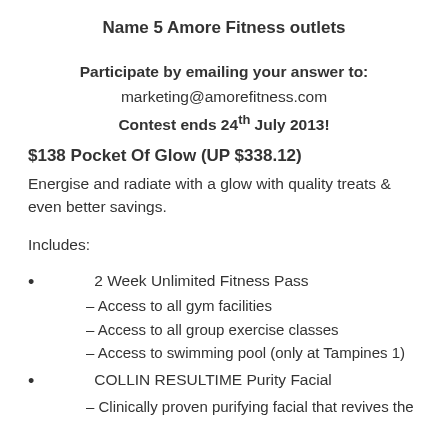Name 5 Amore Fitness outlets
Participate by emailing your answer to:
marketing@amorefitness.com
Contest ends 24th July 2013!
$138 Pocket Of Glow (UP $338.12)
Energise and radiate with a glow with quality treats & even better savings.
Includes:
2 Week Unlimited Fitness Pass
– Access to all gym facilities
– Access to all group exercise classes
– Access to swimming pool (only at Tampines 1)
COLLIN RESULTIME Purity Facial
– Clinically proven purifying facial that revives the